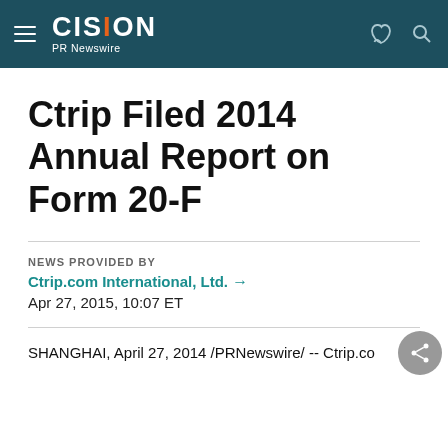CISION PR Newswire
Ctrip Filed 2014 Annual Report on Form 20-F
NEWS PROVIDED BY
Ctrip.com International, Ltd. →
Apr 27, 2015, 10:07 ET
SHANGHAI, April 27, 2014 /PRNewswire/ -- Ctrip.co